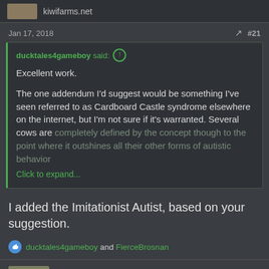kiwifarms.net
Jan 17, 2018   #21
ducktales4gameboy said:
Excellent work.

The one addendum I'd suggest would be something I've seen referred to as Cardboard Castle syndrome elsewhere on the internet, but I'm not sure if it's warranted. Several cows are completely defined by the concept though to the point where it outshines all their other forms of autistic behavior
Click to expand...
I added the Imitationist Autist, based on your suggestion.
ducktales4gameboy and FierceBrosnan
GethN7